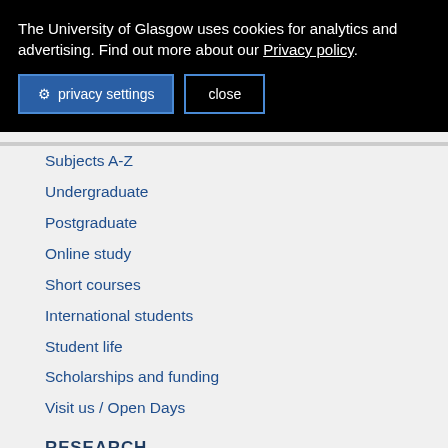The University of Glasgow uses cookies for analytics and advertising. Find out more about our Privacy policy.
privacy settings   close
Subjects A-Z
Undergraduate
Postgraduate
Online study
Short courses
International students
Student life
Scholarships and funding
Visit us / Open Days
RESEARCH
Research units A-Z